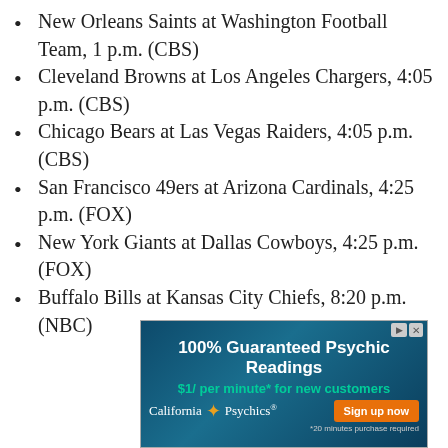New Orleans Saints at Washington Football Team, 1 p.m. (CBS)
Cleveland Browns at Los Angeles Chargers, 4:05 p.m. (CBS)
Chicago Bears at Las Vegas Raiders, 4:05 p.m. (CBS)
San Francisco 49ers at Arizona Cardinals, 4:25 p.m. (FOX)
New York Giants at Dallas Cowboys, 4:25 p.m. (FOX)
Buffalo Bills at Kansas City Chiefs, 8:20 p.m. (NBC)
[Figure (infographic): Advertisement banner for California Psychics: '100% Guaranteed Psychic Readings, $1/ per minute* for new customers' with Sign up now button and '*20 minutes purchase required' fine print.]